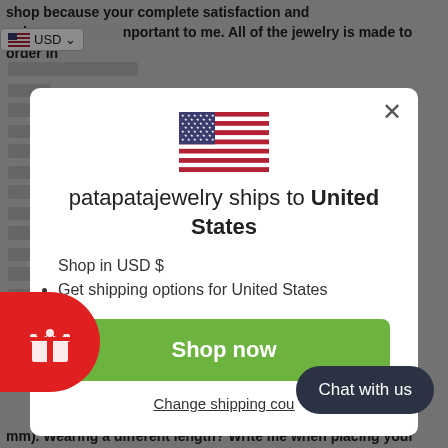shop because your complete satisfaction and only important to me. All of the jewelry is made to order in
[Figure (screenshot): Currency selector showing US flag icon and USD dropdown]
[Figure (infographic): Modal dialog: patapatajewelry ships to United States, with US flag, shop in USD $, Get shipping options for United States, Shop now button, Change shipping country link]
[Figure (illustration): Red pill-shaped gift icon button on left edge]
[Figure (screenshot): Dark rounded chat button: Chat with us]
mm). Wearing a different length? Write me when placing your